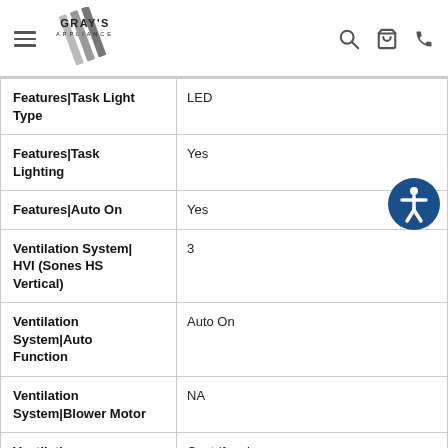Gray's Appliance
| Feature | Value |
| --- | --- |
| Features|Task Light Type | LED |
| Features|Task Lighting | Yes |
| Features|Auto On | Yes |
| Ventilation System|HVI (Sones HS Vertical) | 3 |
| Ventilation System|Auto Function | Auto On |
| Ventilation System|Blower Motor | NA |
| Ventilation System|Blower Type | Centrifugal |